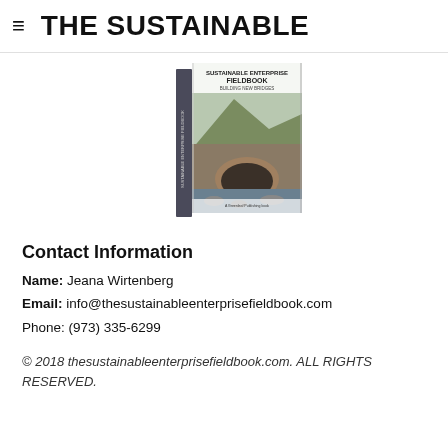THE SUSTAINABLE
[Figure (illustration): Book cover of 'The Sustainable Enterprise Fieldbook: Building New Bridges', showing an old stone arch bridge over a rocky river with a hill in the background. Edited by Jeana Wirtenberg, Ph.D., with Judith Kafka, David Lipsky Ph.D. and William G. Russell. A Greenleaf Publishing book.]
Contact Information
Name:  Jeana Wirtenberg
Email:  info@thesustainableenterprisefieldbook.com
Phone:  (973) 335-6299
© 2018 thesustainableenterprisefieldbook.com. ALL RIGHTS RESERVED.